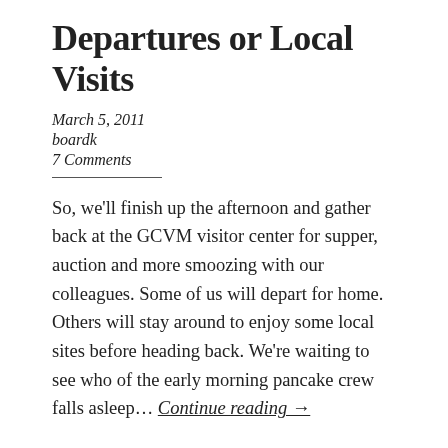Departures or Local Visits
March 5, 2011
boardk
7 Comments
So, we'll finish up the afternoon and gather back at the GCVM visitor center for supper, auction and more smoozing with our colleagues. Some of us will depart for home. Others will stay around to enjoy some local sites before heading back. We're waiting to see who of the early morning pancake crew falls asleep… Continue reading →